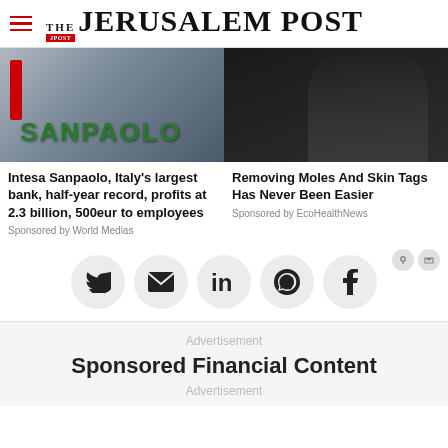THE JERUSALEM POST
[Figure (photo): Intesa Sanpaolo bank sign photo]
[Figure (photo): Person touching face on dark background]
Intesa Sanpaolo, Italy's largest bank, half-year record, profits at 2.3 billion, 500eur to employees
Sponsored by World Medias
Removing Moles And Skin Tags Has Never Been Easier
Sponsored by EcoHealthNews
[Figure (infographic): Social share buttons: Twitter, Email, LinkedIn, WhatsApp, Facebook]
Advertisement
Sponsored Financial Content
Advertisement